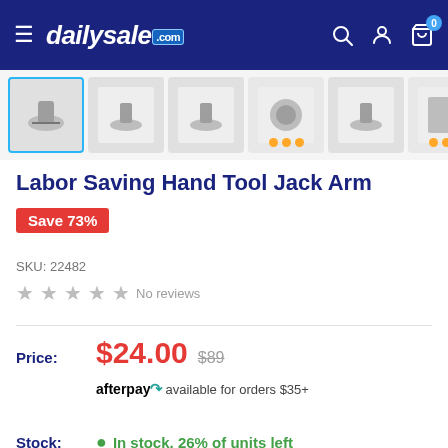dailysale.com
[Figure (screenshot): Thumbnail images of Labor Saving Hand Tool Jack Arm product photos in a horizontal strip; first image is selected with blue border; other thumbnails show product from various angles; two thumbnails show orange dot ratings overlays]
Labor Saving Hand Tool Jack Arm
Save 73%
SKU: 22482
No reviews
Price: $24.00 $89
afterpay available for orders $35+
Stock: In stock, 26% of units left